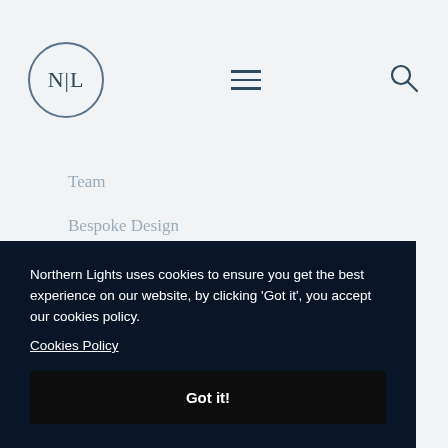[Figure (logo): NL monogram logo inside a circle, representing Northern Lights brand]
Team
Bespoke Design
Partners & Brands
Discover
Bespoke Finishes
Hotel
Northern Lights uses cookies to ensure you get the best experience on our website, by clicking 'Got it', you accept our cookies policy.
Cookies Policy
Got it!